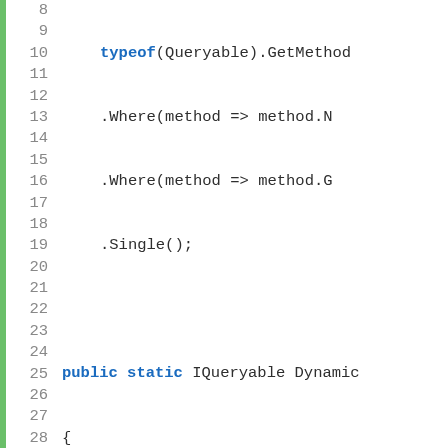[Figure (screenshot): Code editor screenshot showing C# source code lines 8–31. Lines show LINQ method chaining, a public static method returning IQueryable with DynamicLinq sorting logic including foreach loop, return statements, and variable declarations.]